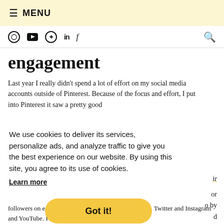☰ MENU
Instagram YouTube Pinterest LinkedIn Facebook [search]
engagement
Last year I really didn't spend a lot of effort on my social media accounts outside of Pinterest. Because of the focus and effort, I put into Pinterest it saw a pretty good
We use cookies to deliver its services, personalize ads, and analyze traffic to give you the best experience on our website. By using this site, you agree to its use of cookies.
Learn more
Got it!
ir
or
o by
d
followers on each of the following accounts: Facebook, Twitter and Instagram and YouTube. For Pinterest all